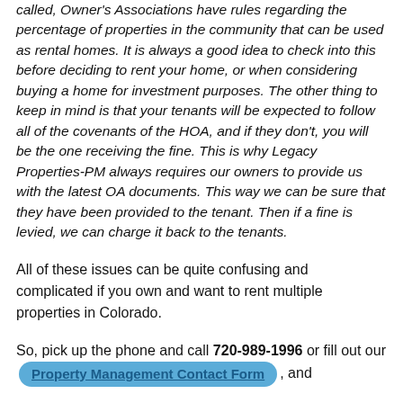called, Owner's Associations have rules regarding the percentage of properties in the community that can be used as rental homes. It is always a good idea to check into this before deciding to rent your home, or when considering buying a home for investment purposes. The other thing to keep in mind is that your tenants will be expected to follow all of the covenants of the HOA, and if they don't, you will be the one receiving the fine. This is why Legacy Properties-PM always requires our owners to provide us with the latest OA documents. This way we can be sure that they have been provided to the tenant. Then if a fine is levied, we can charge it back to the tenants.
All of these issues can be quite confusing and complicated if you own and want to rent multiple properties in Colorado.
So, pick up the phone and call 720-989-1996 or fill out our Property Management Contact Form, and